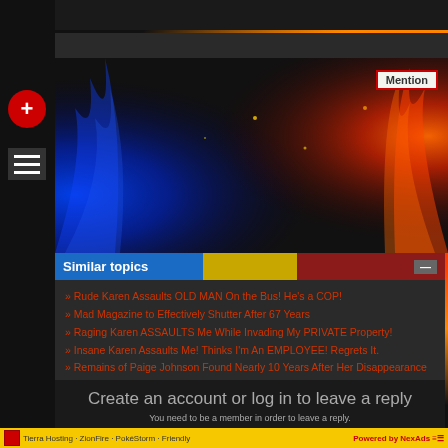[Figure (screenshot): Website UI with fire/flame background, navigation sidebar, Mention button, hero image area]
Similar topics
Rude Karen Assaults OLD MAN On the Bus! He's a COP!
Mad Magazine to Effectively Shutter After 67 Years
Raging Karen ASSAULTS Me While Invading My PRIVATE Property!
Insane Karen Assaults Me! Thinks I'm An EMPLOYEE! Regrets It.
Remains of Paige Johnson Found Nearly 10 Years After Her Disappearance
Create an account or log in to leave a reply
You need to be a member in order to leave a reply.
CREATE AN ACCOUNT
Tierra Hosting · ZionFire · PokéStorm · Friendly   Powered by NexAds